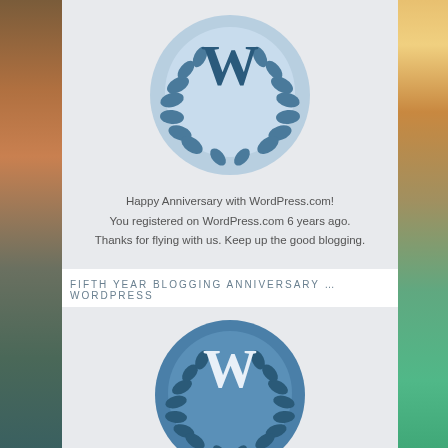[Figure (logo): WordPress.com anniversary badge with W letter and laurel wreath on light blue circle]
Happy Anniversary with WordPress.com!
You registered on WordPress.com 6 years ago.
Thanks for flying with us. Keep up the good blogging.
FIFTH YEAR BLOGGING ANNIVERSARY … WORDPRESS
[Figure (logo): WordPress.com fifth year anniversary badge with W letter and laurel wreath on blue circle]